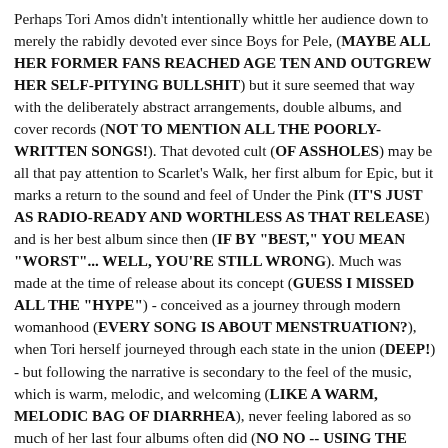Perhaps Tori Amos didn't intentionally whittle her audience down to merely the rabidly devoted ever since Boys for Pele, (MAYBE ALL HER FORMER FANS REACHED AGE TEN AND OUTGREW HER SELF-PITYING BULLSHIT) but it sure seemed that way with the deliberately abstract arrangements, double albums, and cover records (NOT TO MENTION ALL THE POORLY-WRITTEN SONGS!). That devoted cult (OF ASSHOLES) may be all that pay attention to Scarlet's Walk, her first album for Epic, but it marks a return to the sound and feel of Under the Pink (IT'S JUST AS RADIO-READY AND WORTHLESS AS THAT RELEASE) and is her best album since then (IF BY "BEST," YOU MEAN "WORST"... WELL, YOU'RE STILL WRONG). Much was made at the time of release about its concept (GUESS I MISSED ALL THE "HYPE") - conceived as a journey through modern womanhood (EVERY SONG IS ABOUT MENSTRUATION?), when Tori herself journeyed through each state in the union (DEEP!) - but following the narrative is secondary to the feel of the music, which is warm, melodic, and welcoming (LIKE A WARM, MELODIC BAG OF DIARRHEA), never feeling labored as so much of her last four albums often did (NO NO -- USING THE WORD "LABORED" IMPLIES THAT SHE PUT ACTUAL EFFORT INTO THOSE RECORDS). This doesn't mean it's an altogether easy listen (ESPECIALLY THE FIFTEEN SONGS THAT AREN'T ANY GOOD AT ALL): an intrinsic listener... d... b... fr... i... (IN THE LISTENER)...